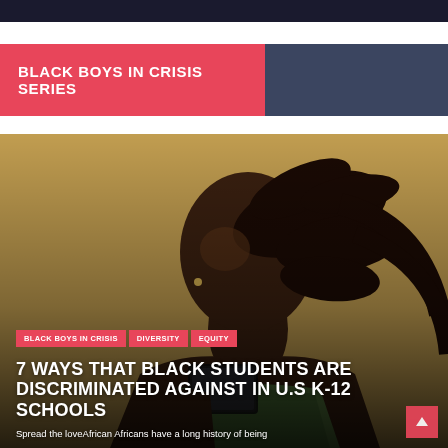BLACK BOYS IN CRISIS SERIES
[Figure (photo): Young Black girl looking down at a tablet or phone, braided hair, yellow wall background, overlaid with article tags and title]
7 WAYS THAT BLACK STUDENTS ARE DISCRIMINATED AGAINST IN U.S K-12 SCHOOLS
Spread the loveAfrican Africans have a long history of being